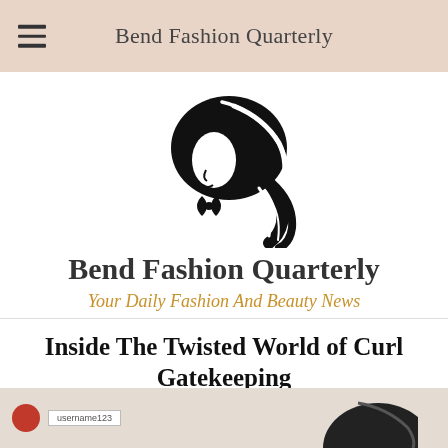Bend Fashion Quarterly
[Figure (logo): Silhouette of a woman's profile with flowing curly hair, black logo illustration]
Bend Fashion Quarterly
Your Daily Fashion And Beauty News
Inside The Twisted World of Curl Gatekeeping
August 24, 2021
[Figure (screenshot): Bottom strip showing a user avatar (pink/red circle), username label, and partial hair/curly photo]